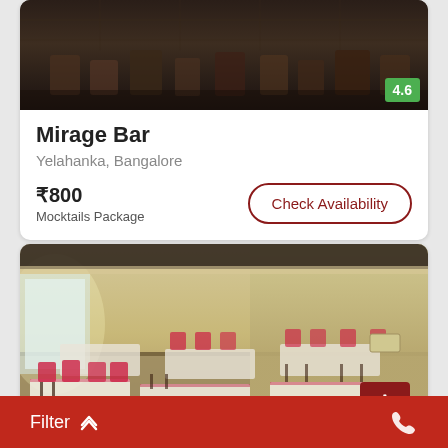[Figure (photo): Interior of Mirage Bar restaurant showing dark ceiling with chairs stacked, rating badge 4.6 in green]
Mirage Bar
Yelahanka, Bangalore
₹800
Mocktails Package
Check Availability
[Figure (photo): Interior of a restaurant/banquet hall with yellow walls, pink/red chair covers, white tablecloths, and dining tables set up]
Filter